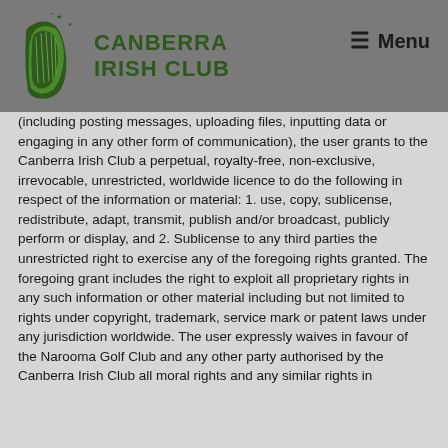Canberra Irish Club — Menu
(including posting messages, uploading files, inputting data or engaging in any other form of communication), the user grants to the Canberra Irish Club a perpetual, royalty-free, non-exclusive, irrevocable, unrestricted, worldwide licence to do the following in respect of the information or material: 1. use, copy, sublicense, redistribute, adapt, transmit, publish and/or broadcast, publicly perform or display, and 2. Sublicense to any third parties the unrestricted right to exercise any of the foregoing rights granted. The foregoing grant includes the right to exploit all proprietary rights in any such information or other material including but not limited to rights under copyright, trademark, service mark or patent laws under any jurisdiction worldwide. The user expressly waives in favour of the Narooma Golf Club and any other party authorised by the Canberra Irish Club all moral rights and any similar rights in